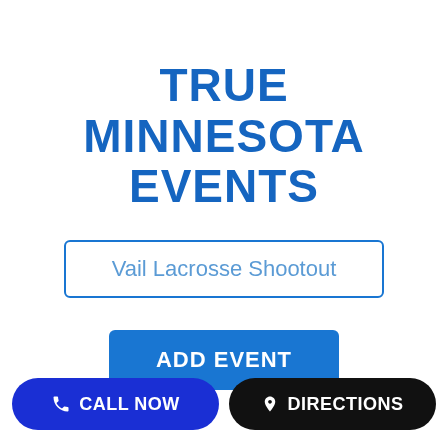TRUE MINNESOTA EVENTS
Vail Lacrosse Shootout
ADD EVENT
CALL NOW
DIRECTIONS